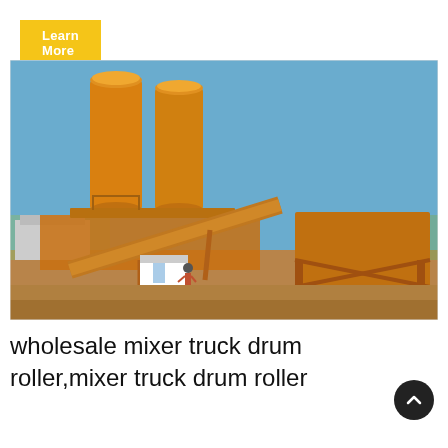Learn More
[Figure (photo): Large yellow concrete batching plant / cement mixing station with two tall cylindrical silos, conveyor belts, structural steel framework, and a small white control booth, situated on a dirt construction site under a blue sky.]
wholesale mixer truck drum roller,mixer truck drum roller